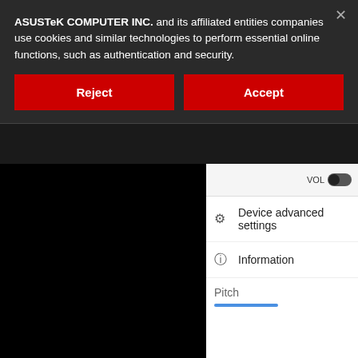ASUSTeK COMPUTER INC. and its affiliated entities companies use cookies and similar technologies to perform essential online functions, such as authentication and security.
Reject
Accept
[Figure (screenshot): Screenshot of a device settings menu showing 'Device advanced settings' and 'Information' options on a white panel, with a black content area on the left. A VOL label and toggle and Pitch slider are partially visible.]
08-12-2020 09:38 PM
DJ Asthma •
ROG Enthusiast
Originally Posted by Cyble
Hi,